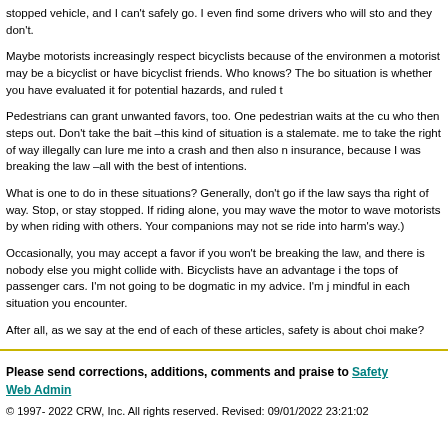Often if I am only walking near a street, a car will stop. Then others don't stop because of a stopped vehicle, and I can't safely go. I even find some drivers who will stop and they don't.
Maybe motorists increasingly respect bicyclists because of the environment a motorist may be a bicyclist or have bicyclist friends. Who knows? The bottom line of any situation is whether you have evaluated it for potential hazards, and ruled them out.
Pedestrians can grant unwanted favors, too. One pedestrian waits at the curb and waves another who then steps out. Don't take the bait —this kind of situation is a stalemate. Accepting me to take the right of way illegally can lure me into a crash and then also may void my insurance, because I was breaking the law —all with the best of intentions.
What is one to do in these situations? Generally, don't go if the law says that you don't have the right of way. Stop, or stay stopped. If riding alone, you may wave the motorist or pedestrian by, but avoid to wave motorists by when riding with others. Your companions may not see you and may ride into harm's way.)
Occasionally, you may accept a favor if you won't be breaking the law, and there is nobody else you might collide with. Bicyclists have an advantage in being able to see over the tops of passenger cars. I'm not going to be dogmatic in my advice. I'm just urging you to be mindful in each situation you encounter.
After all, as we say at the end of each of these articles, safety is about choices. What choices make?
Please send corrections, additions, comments and praise to Safety Web Admin
© 1997- 2022 CRW, Inc. All rights reserved. Revised: 09/01/2022 23:21:02